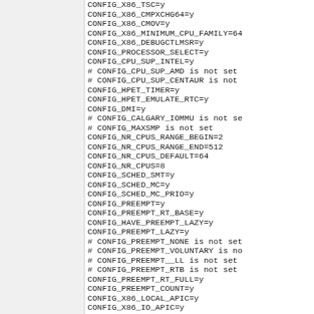CONFIG_X86_CMPXCHG64=y
CONFIG_X86_CMOV=y
CONFIG_X86_MINIMUM_CPU_FAMILY=64
CONFIG_X86_DEBUGCTLMSR=y
CONFIG_PROCESSOR_SELECT=y
CONFIG_CPU_SUP_INTEL=y
# CONFIG_CPU_SUP_AMD is not set
# CONFIG_CPU_SUP_CENTAUR is not
CONFIG_HPET_TIMER=y
CONFIG_HPET_EMULATE_RTC=y
CONFIG_DMI=y
# CONFIG_CALGARY_IOMMU is not se
# CONFIG_MAXSMP is not set
CONFIG_NR_CPUS_RANGE_BEGIN=2
CONFIG_NR_CPUS_RANGE_END=512
CONFIG_NR_CPUS_DEFAULT=64
CONFIG_NR_CPUS=8
CONFIG_SCHED_SMT=y
CONFIG_SCHED_MC=y
CONFIG_SCHED_MC_PRIO=y
CONFIG_PREEMPT=y
CONFIG_PREEMPT_RT_BASE=y
CONFIG_HAVE_PREEMPT_LAZY=y
CONFIG_PREEMPT_LAZY=y
# CONFIG_PREEMPT_NONE is not set
# CONFIG_PREEMPT_VOLUNTARY is no
# CONFIG_PREEMPT__LL is not set
# CONFIG_PREEMPT_RTB is not set
CONFIG_PREEMPT_RT_FULL=y
CONFIG_PREEMPT_COUNT=y
CONFIG_X86_LOCAL_APIC=y
CONFIG_X86_IO_APIC=y